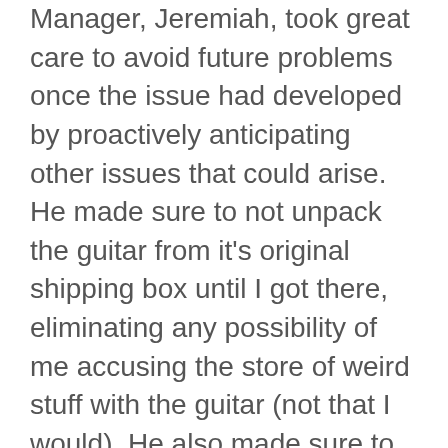Manager, Jeremiah, took great care to avoid future problems once the issue had developed by proactively anticipating other issues that could arise. He made sure to not unpack the guitar from it's original shipping box until I got there, eliminating any possibility of me accusing the store of weird stuff with the guitar (not that I would). He also made sure to call the Distribution Center to ensure that the single unit showing on the computer was actually there.
2. Accountability. Jeremiah took ownership of the problem. He gave me his hours and told me to ask for